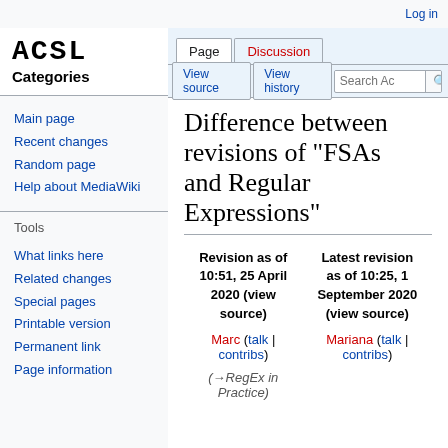Log in
[Figure (logo): ACSL Categories logo - blocky pixel-style text ACSL above the word Categories]
ad
Main page
Recent changes
Random page
Help about MediaWiki
Tools
What links here
Related changes
Special pages
Printable version
Permanent link
Page information
Difference between revisions of "FSAs and Regular Expressions"
| Revision as of 10:51, 25 April 2020 (view source) | Latest revision as of 10:25, 1 September 2020 (view source) |
| --- | --- |
| Marc (talk | contribs) | Mariana (talk | contribs) |
| (→RegEx in Practice) |  |